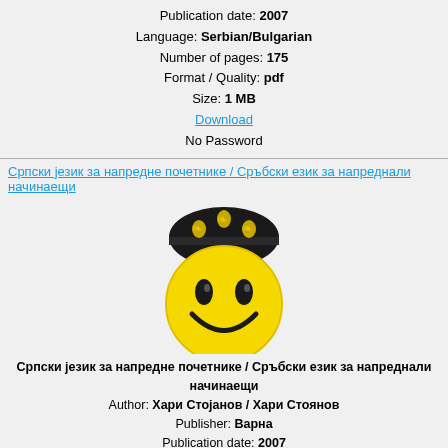Publication date: 2007
Language: Serbian/Bulgarian
Number of pages: 175
Format / Quality: pdf
Size: 1 MB
Download
No Password
Српски језик за напредне почетнике / Сръбски език за напреднали начинаещи
[Figure (illustration): Yellow smiley face emoji wearing a decorative black hat with yellow ornaments]
Српски језик за напредне почетнике / Сръбски език за напреднали начинаещи
Author: Хари Стојанов / Хари Стоянов
Publisher: Варна
Publication date: 2007
Language: Serbian/Bulgarian
Number of pages: 175
Format / Quality: pdf
Size: 1 MB
Download
No Password
Teach Yourself Serbian: Vladislava Ribnikar, David Norris
[Figure (photo): Colorful vertical stripes book cover with a small Teach Yourself logo badge in yellow]